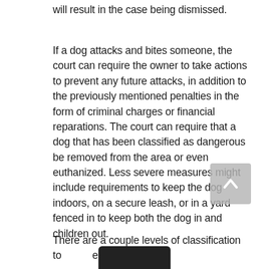will result in the case being dismissed.
If a dog attacks and bites someone, the court can require the owner to take actions to prevent any future attacks, in addition to the previously mentioned penalties in the form of criminal charges or financial reparations. The court can require that a dog that has been classified as dangerous be removed from the area or even euthanized. Less severe measures might include requirements to keep the dog indoors, on a secure leash, or in a yard fenced in to keep both the dog in and children out.
There are a couple levels of classification to… e of the